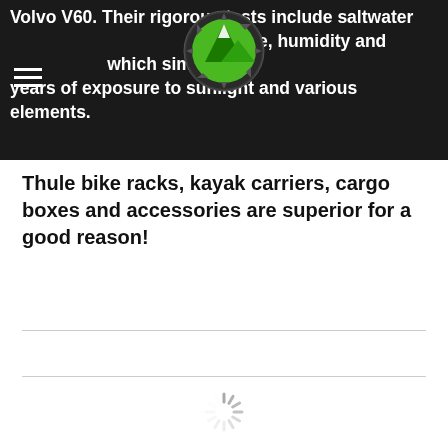Volvo V60. Their rigorous tests include saltwater exposure, humidity and [logo] which simulates years of exposure to sunlight and various elements.
[Figure (logo): Green mountain/gear logo icon for an outdoor/automotive accessories website, circular with green and black colors]
Thule bike racks, kayak carriers, cargo boxes and accessories are superior for a good reason!
[Figure (other): Loading spinner / throbber icon in gray, indicating content is loading]